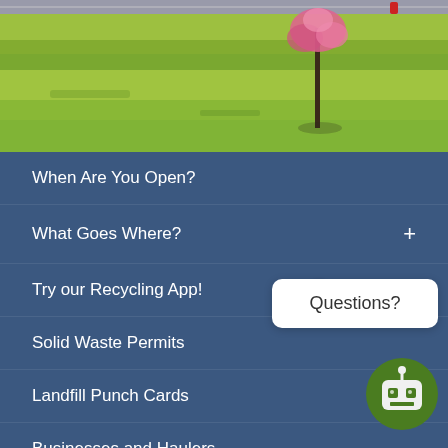[Figure (photo): Outdoor scene showing a grassy area with a small flowering tree with pink blossoms, near a road or parking lot, under natural daylight.]
When Are You Open?
What Goes Where?
Try our Recycling App!
Solid Waste Permits
Landfill Punch Cards
Businesses and Haulers
Landfill Gas to Energy Project
[Figure (illustration): Chatbot widget with a close (x) button, a speech bubble saying 'Questions?', and a green robot icon at the bottom right of the screen.]